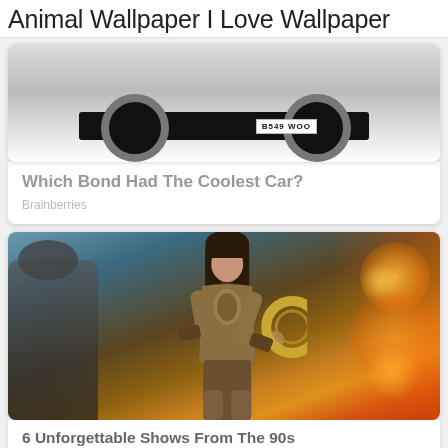Animal Wallpaper I Love Wallpaper
[Figure (photo): Partial view of a black car showing its undercarriage and wheels, license plate B549 WOO visible]
Which Bond Had The Coolest Car?
Brainberries
[Figure (photo): A woman in warrior/gladiator armor holding a circular weapon (chakram) with fire and bokeh lights in background - resembling Xena Warrior Princess]
6 Unforgettable Shows From The 90s That Need To Make A Comeback